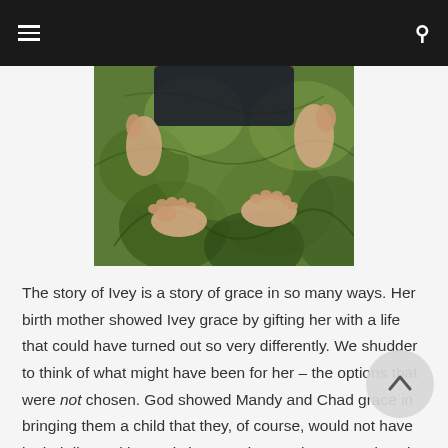[navigation bar with menu and search icons]
[Figure (photo): Close-up photo of a child's bare feet and hands on a green patterned fabric/rug with leaf designs]
The story of Ivey is a story of grace in so many ways. Her birth mother showed Ivey grace by gifting her with a life that could have turned out so very differently. We shudder to think of what might have been for her – the options that were not chosen. God showed Mandy and Chad grace in bringing them a child that they, of course, would not have in their lives without His intervention. He has graced my in-laws with a granddaughter who lights up their lives. Grace at every turn. Grace in